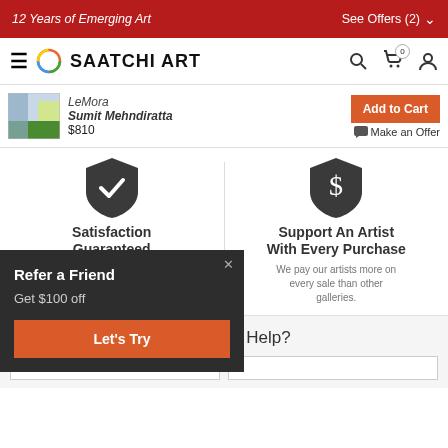12 Years of Emerging Art   See Offers (2)
[Figure (logo): Saatchi Art logo with hamburger menu, circle logo, SAATCHI ART text, search, cart, and user icons]
[Figure (screenshot): Sticky product bar showing artwork thumbnail, LeMora artwork by Sumit Mehndiratta, $810, Add to Cart button, Make an Offer link]
[Figure (illustration): Satisfaction Guaranteed shield icon with checkmark]
Satisfaction Guaranteed
Our 7-day, money-back guarantee allows you to buy with confidence.
[Figure (illustration): Support An Artist With Every Purchase shield icon with dollar sign]
Support An Artist With Every Purchase
We pay our artists more on every sale than other galleries.
[Figure (infographic): Refer a Friend popup overlay with Get $100 off and Let's Try button]
Need More Help?